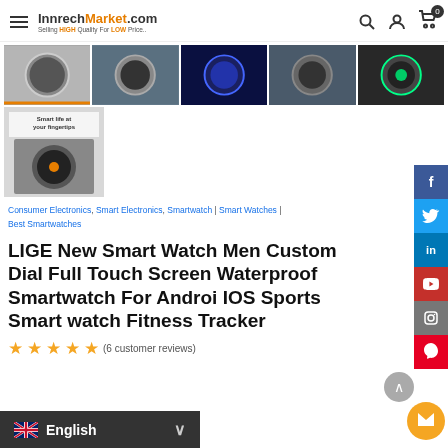InnrechMarket.com — Selling HIGH Quality For LOW Price. Search, Account, Cart (0)
[Figure (photo): Row of 5 product thumbnail images of smartwatches]
[Figure (photo): Single smartwatch product thumbnail showing 'Smart life at your fingertips']
Consumer Electronics, Smart Electronics, Smartwatch | Smart Watches | Best Smartwatches
LIGE New Smart Watch Men Custom Dial Full Touch Screen Waterproof Smartwatch For Android IOS Sports Smart watch Fitness Tracker
(6 customer reviews)
English